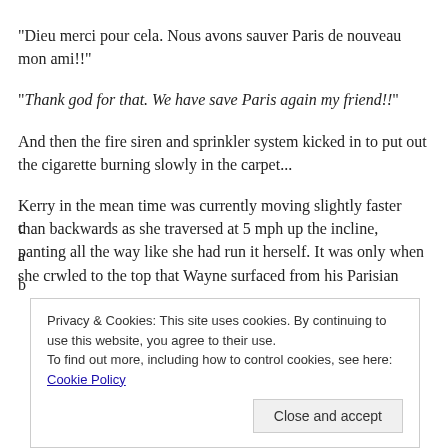"Dieu merci pour cela. Nous avons sauver Paris de nouveau mon ami!!"
"Thank god for that. We have save Paris again my friend!!"
And then the fire siren and sprinkler system kicked in to put out the cigarette burning slowly in the carpet...
Kerry in the mean time was currently moving slightly faster than backwards as she traversed at 5 mph up the incline, panting all the way like she had run it herself. It was only when she crwled to the top that Wayne surfaced from his Parisian
Privacy & Cookies: This site uses cookies. By continuing to use this website, you agree to their use.
To find out more, including how to control cookies, see here: Cookie Policy
Close and accept